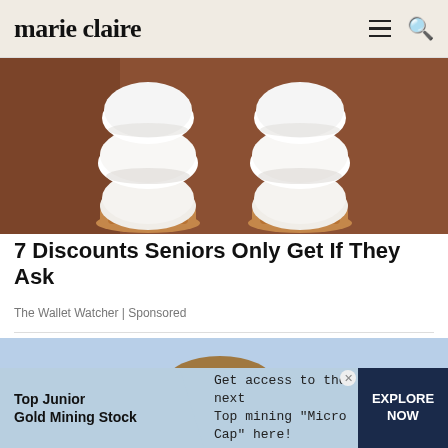marie claire
[Figure (photo): Two stacked white rounded ceramic bowls or shapes stacked on tan/brown wafer cone bases against a warm brown background — resembling scoops of white ice cream]
7 Discounts Seniors Only Get If They Ask
The Wallet Watcher | Sponsored
[Figure (photo): Partial view of a child with light brown hair peeking up from the bottom of the frame, outdoors with sky in background]
Top Junior Gold Mining Stock — Get access to the next Top mining "Micro Cap" here! — EXPLORE NOW